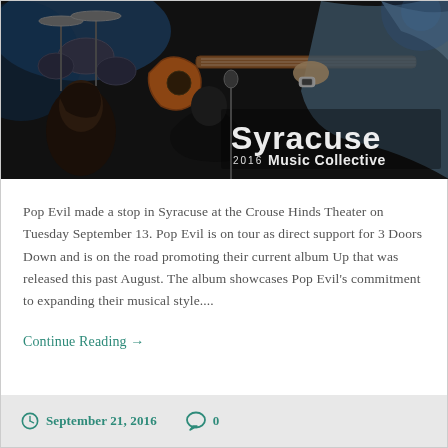[Figure (photo): Concert photo showing musicians on stage with guitars, drums in background; 'Syracuse 2016 Music Collective' text overlay in bottom right corner]
Pop Evil made a stop in Syracuse at the Crouse Hinds Theater on Tuesday September 13. Pop Evil is on tour as direct support for 3 Doors Down and is on the road promoting their current album Up that was released this past August. The album showcases Pop Evil's commitment to expanding their musical style....
Continue Reading →
September 21, 2016   0